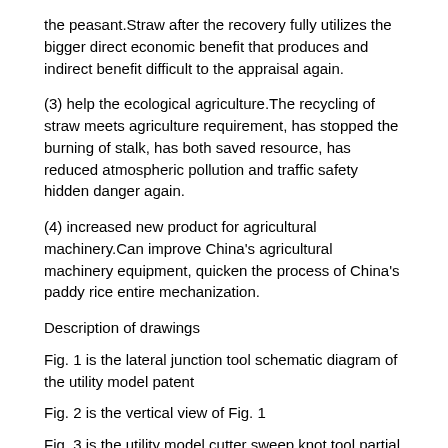the peasant.Straw after the recovery fully utilizes the bigger direct economic benefit that produces and indirect benefit difficult to the appraisal again.
(3) help the ecological agriculture.The recycling of straw meets agriculture requirement, has stopped the burning of stalk, has both saved resource, has reduced atmospheric pollution and traffic safety hidden danger again.
(4) increased new product for agricultural machinery.Can improve China's agricultural machinery equipment, quicken the process of China's paddy rice entire mechanization.
Description of drawings
Fig. 1 is the lateral junction tool schematic diagram of the utility model patent
Fig. 2 is the vertical view of Fig. 1
Fig. 3 is the utility model cutter sweep knot tool partial schematic diagram
Double cog Rubber Conveyor Belt Scrap and band gear structure schematic diagram that Fig. 4 adopts for the